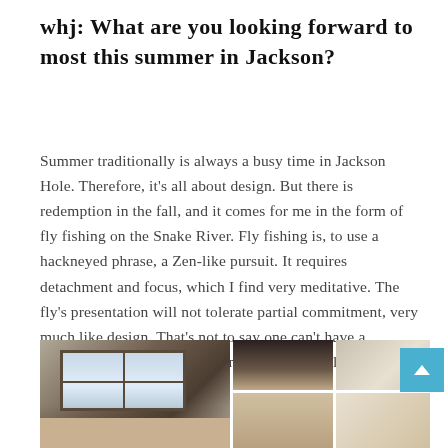whj: What are you looking forward to most this summer in Jackson?
Summer traditionally is always a busy time in Jackson Hole. Therefore, it's all about design. But there is redemption in the fall, and it comes for me in the form of fly fishing on the Snake River. Fly fishing is, to use a hackneyed phrase, a Zen-like pursuit. It requires detachment and focus, which I find very meditative. The fly's presentation will not tolerate partial commitment, very much like design. That's not to say one can't have a delicious picnic on the river and enjoy the eagles flying high overhead.
[Figure (photo): A collage of interior design photos showing a room with large windows overlooking a mountain landscape, wooden furniture and cabinetry, and interior details of a Jackson Hole style home.]